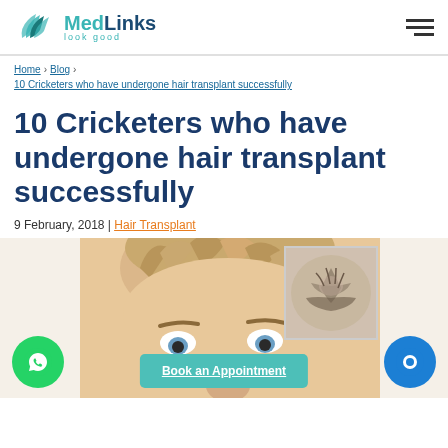MedLinks look good
Home › Blog › 10 Cricketers who have undergone hair transplant successfully
10 Cricketers who have undergone hair transplant successfully
9 February, 2018 | Hair Transplant
[Figure (photo): Close-up of a man's head showing hair, with a smaller inset thumbnail showing the top of a head with thinning hair, illustrating hair transplant before/after context.]